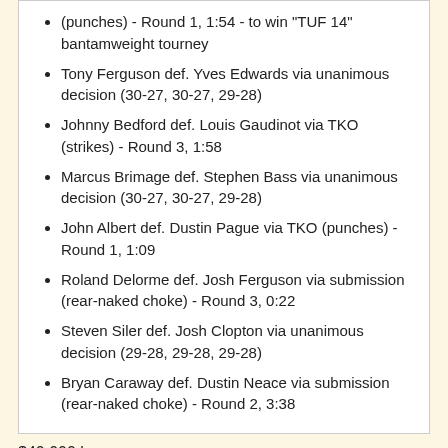(punches) - Round 1, 1:54 - to win "TUF 14" bantamweight tourney
Tony Ferguson def. Yves Edwards via unanimous decision (30-27, 30-27, 29-28)
Johnny Bedford def. Louis Gaudinot via TKO (strikes) - Round 3, 1:58
Marcus Brimage def. Stephen Bass via unanimous decision (30-27, 30-27, 29-28)
John Albert def. Dustin Pague via TKO (punches) - Round 1, 1:09
Roland Delorme def. Josh Ferguson via submission (rear-naked choke) - Round 3, 0:22
Steven Siler def. Josh Clopton via unanimous decision (29-28, 29-28, 29-28)
Bryan Caraway def. Dustin Neace via submission (rear-naked choke) - Round 2, 3:38
$40,000 bonuses
John Dodson - Knockout of the night